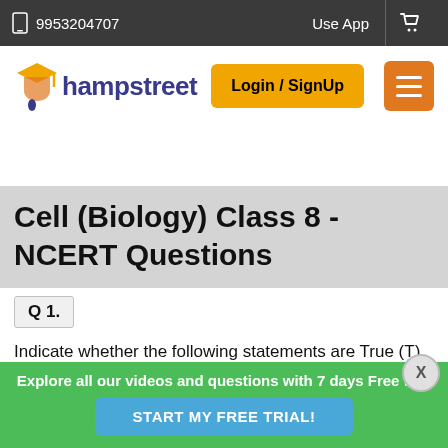9953204707   Use App
[Figure (logo): Champstreet logo with graduation cap icon in orange and blue text]
Login / SignUp
Cell (Biology) Class 8 - NCERT Questions
Q 1.
Indicate whether the following statements are True (T)
Explore all our videos and questions with 7 days Free trial
START MY FREE TRIAL!